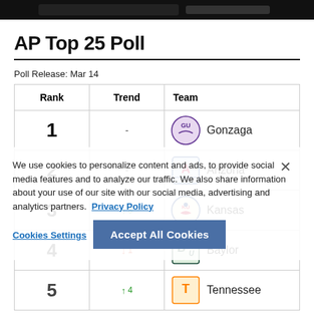[Figure (screenshot): Dark banner/header image at top of page]
AP Top 25 Poll
Poll Release: Mar 14
| Rank | Trend | Team |
| --- | --- | --- |
| 1 | - | Gonzaga |
| 2 | - | Arizona |
| 3 | ↑ 3 | Kansas |
| 4 | ↓ 1 | Baylor |
| 5 | ↑ 4 | Tennessee |
We use cookies to personalize content and ads, to provide social media features and to analyze our traffic. We also share information about your use of our site with our social media, advertising and analytics partners. Privacy Policy
Cookies Settings
Accept All Cookies